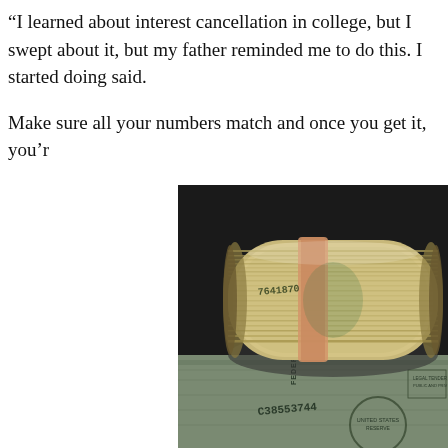“I learned about interest cancellation in college, but I swept about it, but my father reminded me to do this. I started doing said.
Make sure all your numbers match and once you get it, you’r
[Figure (photo): A close-up photograph of rolled and banded US $100 dollar bills, showing serial numbers and Federal Reserve markings, stacked and rolled together.]